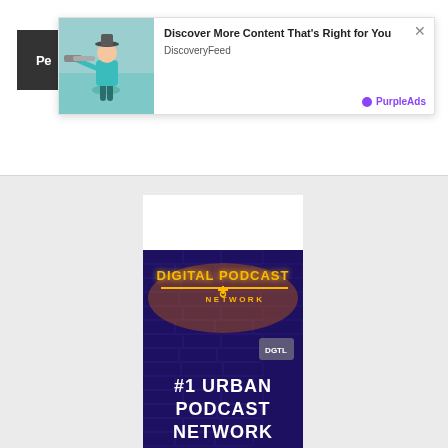[Figure (screenshot): Dark button partial, showing 'Pe' text cut off at top left]
[Figure (screenshot): Advertisement popup card with person using telescope image, title 'Discover More Content That's Right for You', source 'DiscoveryFeed', branded by PurpleAds with close X button]
[Figure (screenshot): White blank rectangle placeholder in gray section]
[Figure (screenshot): Digital Podcast Network promotional image on dark purple brick wall background showing neon sign text 'DIGITAL PODCAST NETWORK' and '#1 URBAN PODCAST NETWORK' text below]